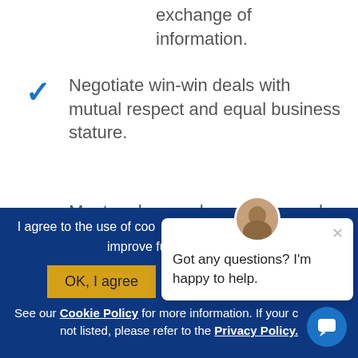exchange of information.
Negotiate win-win deals with mutual respect and equal business stature.
Meet and exceed your sales and profitability goals!
I agree to the use of cookies on Sandler.com, which uses to improve functionality, perfo...
OK, I agree   No, give me more info
See our Cookie Policy for more information. If your c not listed, please refer to the Privacy Policy.
Got any questions? I'm happy to help.